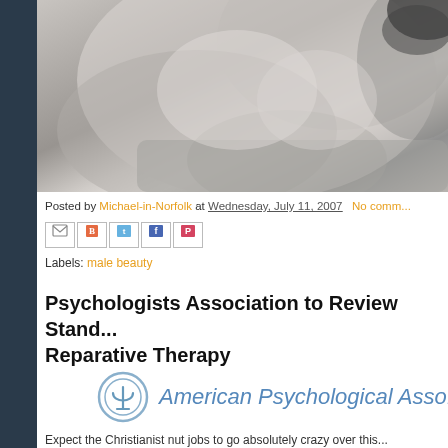[Figure (photo): Black and white close-up photograph of two people kissing]
Posted by Michael-in-Norfolk at Wednesday, July 11, 2007   No comm...
[Figure (infographic): Social sharing buttons: email, blog, twitter, facebook, pinterest]
Labels: male beauty
Psychologists Association to Review Stand... Reparative Therapy
[Figure (logo): American Psychological Association logo with Greek psi symbol]
Expect the Christianist nut jobs to go absolutely crazy over this...